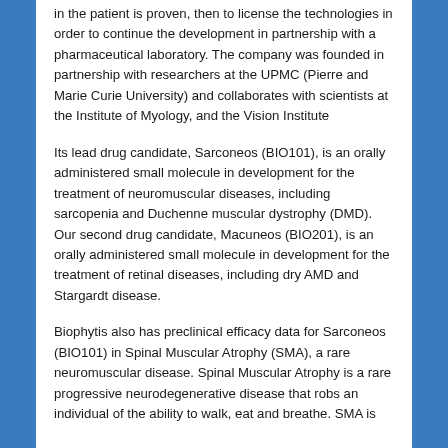in the patient is proven, then to license the technologies in order to continue the development in partnership with a pharmaceutical laboratory. The company was founded in partnership with researchers at the UPMC (Pierre and Marie Curie University) and collaborates with scientists at the Institute of Myology, and the Vision Institute
Its lead drug candidate, Sarconeos (BIO101), is an orally administered small molecule in development for the treatment of neuromuscular diseases, including sarcopenia and Duchenne muscular dystrophy (DMD). Our second drug candidate, Macuneos (BIO201), is an orally administered small molecule in development for the treatment of retinal diseases, including dry AMD and Stargardt disease.
Biophytis also has preclinical efficacy data for Sarconeos (BIO101) in Spinal Muscular Atrophy (SMA), a rare neuromuscular disease. Spinal Muscular Atrophy is a rare progressive neurodegenerative disease that robs an individual of the ability to walk, eat and breathe. SMA is